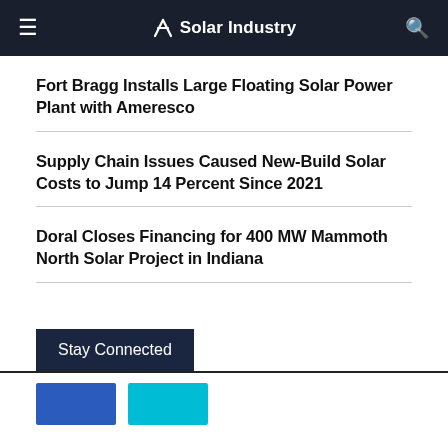Solar Industry
Fort Bragg Installs Large Floating Solar Power Plant with Ameresco
Supply Chain Issues Caused New-Build Solar Costs to Jump 14 Percent Since 2021
Doral Closes Financing for 400 MW Mammoth North Solar Project in Indiana
Stay Connected